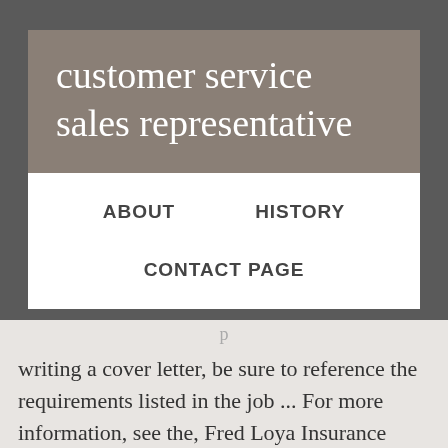customer service sales representative
ABOUT    HISTORY
CONTACT PAGE
writing a cover letter, be sure to reference the requirements listed in the job ... For more information, see the, Fred Loya Insurance Agency Inc, A New Mexico Corp. They are the key public-facing part of a company, although